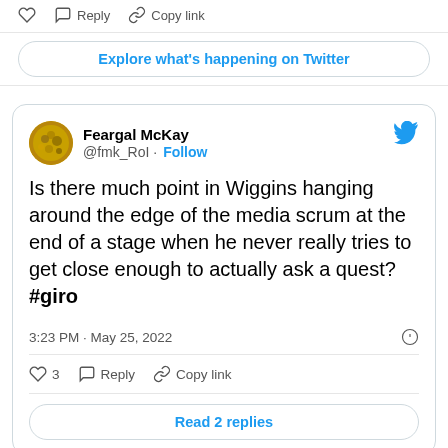Reply   Copy link
Explore what's happening on Twitter
Feargal McKay @fmk_RoI · Follow
Is there much point in Wiggins hanging around the edge of the media scrum at the end of a stage when he never really tries to get close enough to actually ask a quest? #giro
3:23 PM · May 25, 2022
3   Reply   Copy link
Read 2 replies